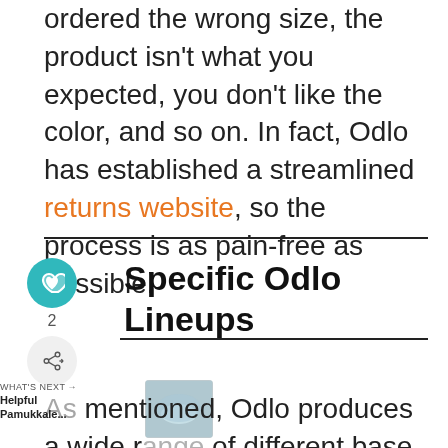ordered the wrong size, the product isn't what you expected, you don't like the color, and so on. In fact, Odlo has established a streamlined returns website, so the process is as pain-free as possible.
Specific Odlo Lineups
[Figure (other): Sidebar UI widgets: heart/like button (teal circle with heart icon), like count '2', and a share button (light circle with share icon)]
[Figure (other): What's Next widget showing label 'WHAT'S NEXT →', text 'Helpful Pamukkale...' and a small thumbnail image]
As mentioned, Odlo produces a wide range of different base layer products – varying in material, warmth,